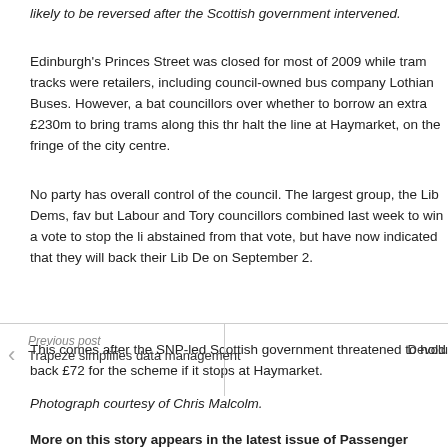likely to be reversed after the Scottish government intervened.
Edinburgh's Princes Street was closed for most of 2009 while tram tracks were retailers, including council-owned bus company Lothian Buses. However, a bat councillors over whether to borrow an extra £230m to bring trams along this thr halt the line at Haymarket, on the fringe of the city centre.
No party has overall control of the council. The largest group, the Lib Dems, fav but Labour and Tory councillors combined last week to win a vote to stop the li abstained from that vote, but have now indicated that they will back their Lib De on September 2.
This comes after the SNP-led Scottish government threatened to hold back £72 for the scheme if it stops at Haymarket.
Photograph courtesy of Chris Malcolm.
More on this story appears in the latest issue of Passenger Transport. Cli
Previous post
Trapeze simplifies data management
Devolu